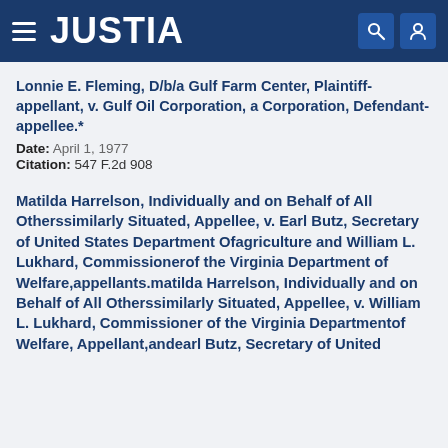JUSTIA
Lonnie E. Fleming, D/b/a Gulf Farm Center, Plaintiff-appellant, v. Gulf Oil Corporation, a Corporation, Defendant-appellee.*
Date: April 1, 1977
Citation: 547 F.2d 908
Matilda Harrelson, Individually and on Behalf of All Otherssimilarly Situated, Appellee, v. Earl Butz, Secretary of United States Department Ofagriculture and William L. Lukhard, Commissionerof the Virginia Department of Welfare,appellants.matilda Harrelson, Individually and on Behalf of All Otherssimilarly Situated, Appellee, v. William L. Lukhard, Commissioner of the Virginia Departmentof Welfare, Appellant,andearl Butz, Secretary of United